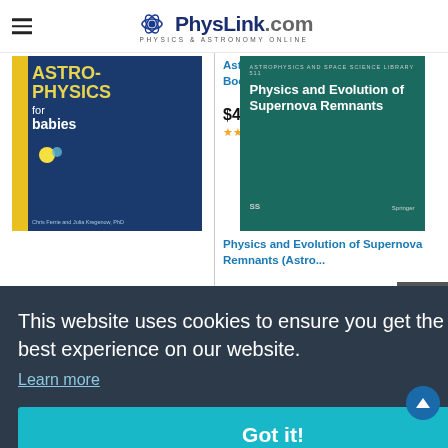PhysLink.com — Physics & Astronomy Online
[Figure (photo): Book cover: Astrophysics for Babies by Chris Ferrie and Julia Kregenow, PhD — dark blue background with yellow stripe]
Astrophysics for Babies: A STEM Book about Space and Astr...
$4.99
[Figure (photo): Book cover: Physics and Evolution of Supernova Remnants (Astrophysics) — teal background]
Physics and Evolution of Supernova Remnants (Astro...
$117.36 $159.99 prime
This website uses cookies to ensure you get the best experience on our website. Learn more
Got it!